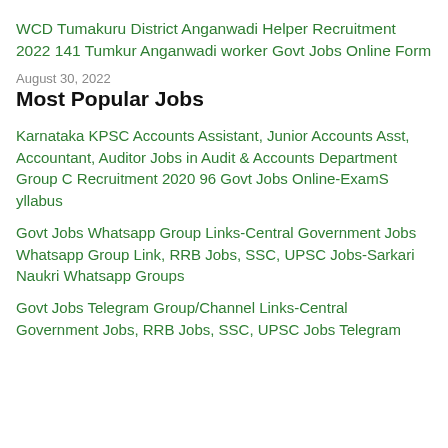WCD Tumakuru District Anganwadi Helper Recruitment 2022 141 Tumkur Anganwadi worker Govt Jobs Online Form
August 30, 2022
Most Popular Jobs
Karnataka KPSC Accounts Assistant, Junior Accounts Asst, Accountant, Auditor Jobs in Audit & Accounts Department Group C Recruitment 2020 96 Govt Jobs Online-ExamSyllabus
Govt Jobs Whatsapp Group Links-Central Government Jobs Whatsapp Group Link, RRB Jobs, SSC, UPSC Jobs-Sarkari Naukri Whatsapp Groups
Govt Jobs Telegram Group/Channel Links-Central Government Jobs, RRB Jobs, SSC, UPSC Jobs Telegram